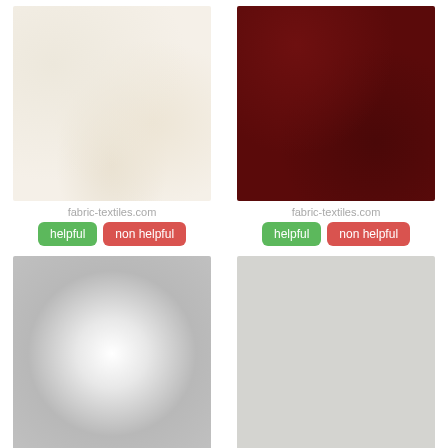[Figure (photo): Cream/off-white textured fabric swatch]
fabric-textiles.com
helpful   non helpful
[Figure (photo): Dark maroon/burgundy fabric swatch]
fabric-textiles.com
helpful   non helpful
[Figure (photo): White draped/swirled fabric]
[Figure (photo): Light gray solid fabric swatch]